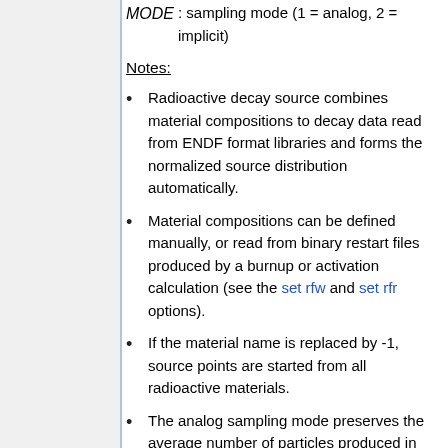MODE : sampling mode (1 = analog, 2 = implicit)
Notes:
Radioactive decay source combines material compositions to decay data read from ENDF format libraries and forms the normalized source distribution automatically.
Material compositions can be defined manually, or read from binary restart files produced by a burnup or activation calculation (see the set rfw and set rfr options).
If the material name is replaced by -1, source points are started from all radioactive materials.
The analog sampling mode preserves the average number of particles produced in radioactive